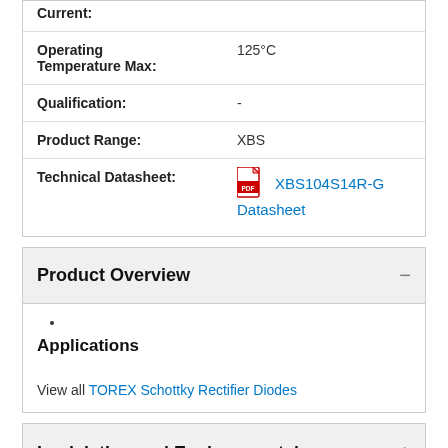| Property | Value |
| --- | --- |
| Current: |  |
| Operating Temperature Max: | 125°C |
| Qualification: | - |
| Product Range: | XBS |
| Technical Datasheet: | XBS104S14R-G  Datasheet |
Product Overview
Applications
View all TOREX Schottky Rectifier Diodes
Legislation and Environmental